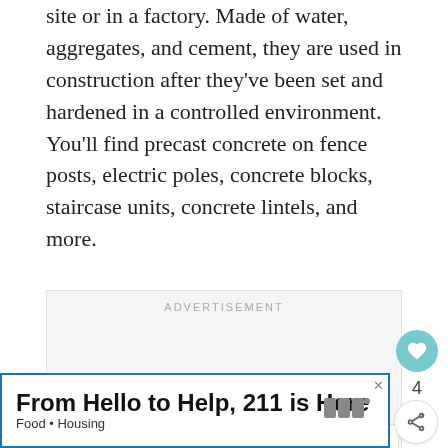site or in a factory. Made of water, aggregates, and cement, they are used in construction after they've been set and hardened in a controlled environment. You'll find precast concrete on fence posts, electric poles, concrete blocks, staircase units, concrete lintels, and more.
[Figure (other): Advertisement placeholder box with 'ADVERTISEMENT' label, three gray dots at bottom, social buttons (heart, share), and a 'What's Next' card showing '14 Types of Concrete Us...']
[Figure (other): Bottom banner ad: 'From Hello to Help, 211 is Here' with subtitle 'Food • Housing' and a logo on the right, with a close X button]